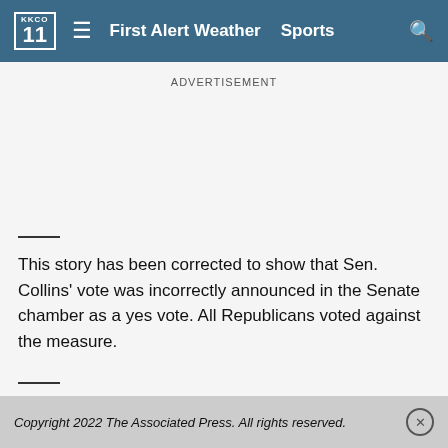KKCO 11  ≡  First Alert Weather  Sports  🔍
ADVERTISEMENT
This story has been corrected to show that Sen. Collins' vote was incorrectly announced in the Senate chamber as a yes vote. All Republicans voted against the measure.
More on the school shooting in Uvalde, Texas:
https://apnews.com/hub/school-shootings
Copyright 2022 The Associated Press. All rights reserved.